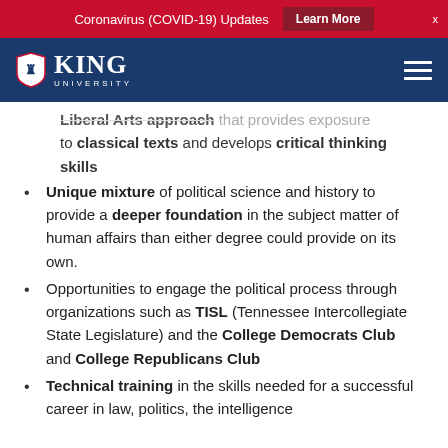Coronavirus (COVID-19) Updates  Learn More  X
King University
Liberal Arts approach that provides exposure to classical texts and develops critical thinking skills
Unique mixture of political science and history to provide a deeper foundation in the subject matter of human affairs than either degree could provide on its own.
Opportunities to engage the political process through organizations such as TISL (Tennessee Intercollegiate State Legislature) and the College Democrats Club and College Republicans Club
Technical training in the skills needed for a successful career in law, politics, the intelligence